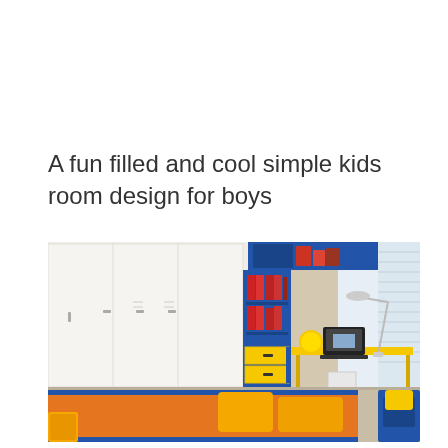A fun filled and cool simple kids room design for boys
[Figure (photo): A colorful kids bedroom for boys featuring an orange bed with yellow pillows, a yellow desk with a laptop and lamp, white wardrobes, a blue bookshelf with red books, blue wall-mounted shelves, and a blue chair in the corner.]